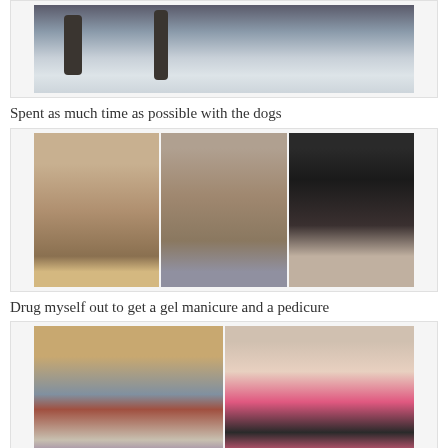[Figure (photo): Snow-covered trees in winter, black and white/grey tones]
Spent as much time as possible with the dogs
[Figure (photo): Three photos of dogs: a pug wrapped in blanket, a pug on couch, and a black dog with person]
Drug myself out to get a gel manicure and a pedicure
[Figure (photo): Two photos: pedicure in progress with dark nail polish, and hand with bright pink/red nail polish on dark surface]
Located the passports and packed my clothes and toiletries for the trip. I just have my carry on with the dreaded electronics and made